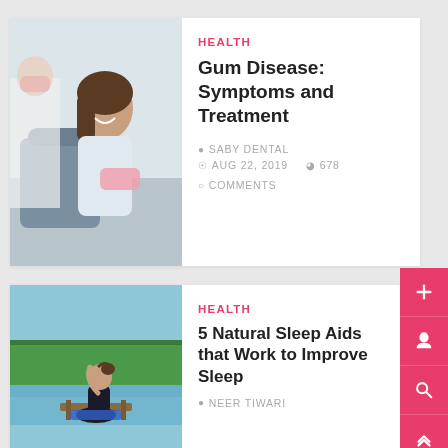HEALTH
Gum Disease: Symptoms and Treatment
SABY DENTAL
AUG 22, 2019   678   COMMENTS
[Figure (photo): Woman smiling at dentist appointment]
HEALTH
5 Natural Sleep Aids that Work to Improve Sleep
NEER TIWARI
[Figure (photo): Woman sitting by lake in meditation pose]